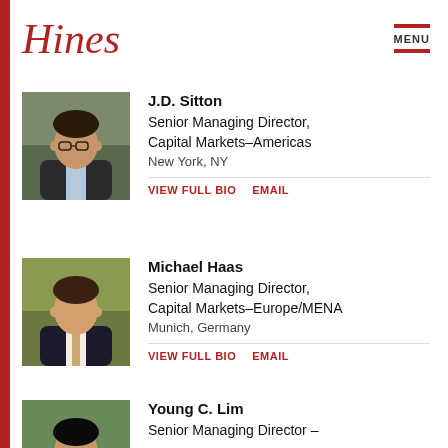[Figure (logo): Hines company logo in red italic serif font]
MENU
[Figure (photo): Headshot of J.D. Sitton, man wearing glasses and dark suit with blue tie, outdoor background]
J.D. Sitton
Senior Managing Director, Capital Markets–Americas
New York, NY
VIEW FULL BIO   EMAIL
[Figure (photo): Headshot of Michael Haas, man in dark suit with light tie, outdoor background]
Michael Haas
Senior Managing Director, Capital Markets–Europe/MENA
Munich, Germany
VIEW FULL BIO   EMAIL
[Figure (photo): Headshot of Young C. Lim, partial view, outdoor background]
Young C. Lim
Senior Managing Director –